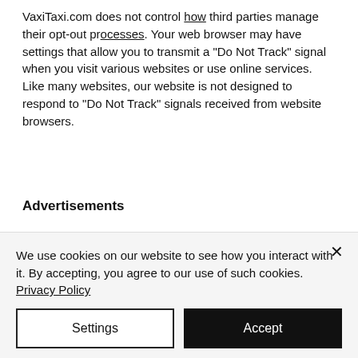VaxiTaxi.com does not control how third parties manage their opt-out processes. Your web browser may have settings that allow you to transmit a "Do Not Track" signal when you visit various websites or use online services. Like many websites, our website is not designed to respond to "Do Not Track" signals received from website browsers.
Advertisements
We may contract with advertising service providers to collect information about your online use and interactions with VaxiTaxi.com over time and across other websites. These companies use the information they collect to serve ads to your device(s), on other websites,
We use cookies on our website to see how you interact with it. By accepting, you agree to our use of such cookies. Privacy Policy